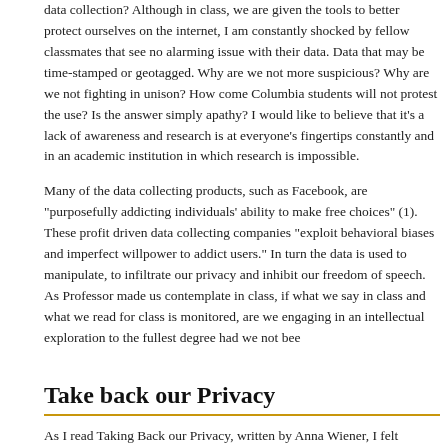data collection? Although in class, we are given the tools to better protect ourselves on the internet, I am constantly shocked by fellow classmates that see no alarming issue with their data. Data that may be time-stamped or geotagged. Why are we not more suspicious? Why are we not fighting in unison? How come Columbia students will not protest the use? Is the answer simply apathy? I would like to believe that it's a lack of awareness and research is at everyone's fingertips constantly and in an academic institution in which research is impossible.
Many of the data collecting products, such as Facebook, are "purposefully addicting individuals' ability to make free choices" (1). These profit driven data collecting companies "exploit behavioral biases and imperfect willpower to addict users." In turn the data is used to manipulate, to infiltrate our privacy and inhibit our freedom of speech. As Professor made us contemplate in class, if what we say in class and what we read for class is monitored, are we engaging in an intellectual exploration to the fullest degree had we not bee
Take back our Privacy
As I read Taking Back our Privacy, written by Anna Wiener, I felt relieved and intere nonprofit run solely on donations and an "outlier in the tech industry"(2). The code —publicly available for anyone to download and comment on" (2). The founding p surveillance should not be achievable, especially by governments and corporation extreme lengths to maintain this, Signal "cannot read the messages that its users metadata. It keeps no call logs or data backups" (2).
Marlinspike, the co-founder of Signal and the central figure of the article, had "lon products and business models of private technology corporations—telecom firms, engines, social networks—would be built atop rapacious data-collection networks